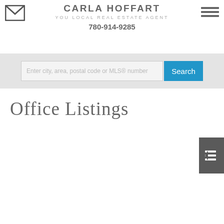CARLA HOFFART
YOU LOCAL REAL ESTATE AGENT
780-914-9285
[Figure (screenshot): Search bar with placeholder text 'Enter city, area, postal code or MLS® number' and a blue Search button]
Office Listings
[Figure (other): Dark grey sidebar tab with indent/list icon]